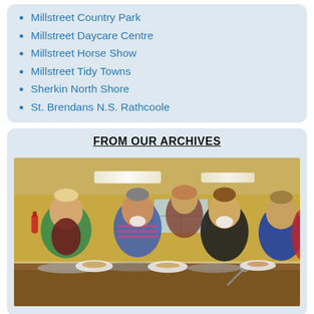Millstreet Country Park
Millstreet Daycare Centre
Millstreet Horse Show
Millstreet Tidy Towns
Sherkin North Shore
St. Brendans N.S. Rathcoole
FROM OUR ARCHIVES
[Figure (photo): Group of four women smiling behind a serving counter in a community hall kitchen, holding plates of food. A fifth person is partially visible in the background on the right.]